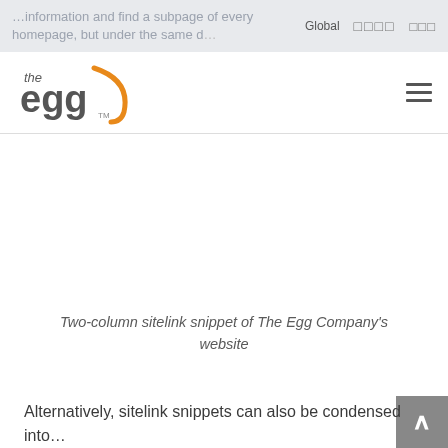...information and find a subpage of every homepage, but under the same domain   Global  □□□□  □□□
[Figure (logo): The Egg company logo — text 'the egg' in dark gray with an orange arc/swoosh on the right side, with TM mark]
[Figure (screenshot): Two-column sitelink snippet of The Egg Company website showing navigation menu items]
Two-column sitelink snippet of The Egg Company's website
Alternatively, sitelink snippets can also be condensed into...